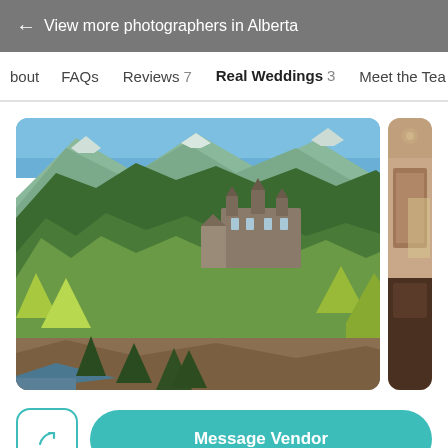← View more photographers in Alberta
About  FAQs  Reviews 7  Real Weddings 3  Meet the Tea…
[Figure (photo): Aerial view of the Fairmont Banff Springs hotel nestled among dense evergreen forests with snow-capped Rocky Mountains in the background, under a clear blue sky.]
[Figure (photo): Partial view of an interior room with wooden paneling, partially cropped at the right edge.]
Message Vendor